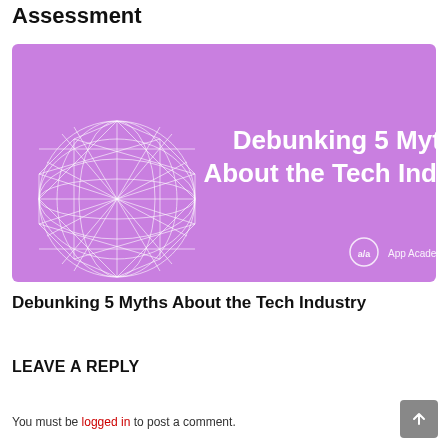Assessment
[Figure (illustration): Purple promotional banner for 'Debunking 5 Myths About the Tech Industry' by App Academy. Features bold white title text centered on the right, and a wireframe geometric sphere on the left. App Academy logo bottom right.]
Debunking 5 Myths About the Tech Industry
LEAVE A REPLY
You must be logged in to post a comment.